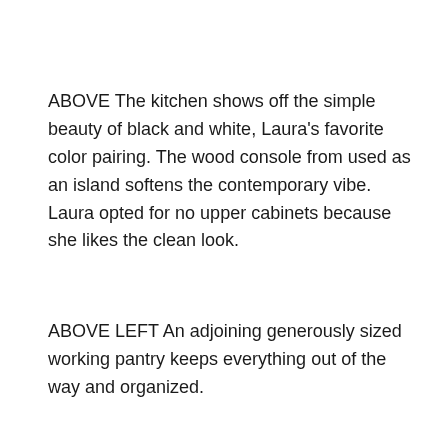ABOVE The kitchen shows off the simple beauty of black and white, Laura's favorite color pairing. The wood console from used as an island softens the contemporary vibe. Laura opted for no upper cabinets because she likes the clean look.
ABOVE LEFT An adjoining generously sized working pantry keeps everything out of the way and organized.